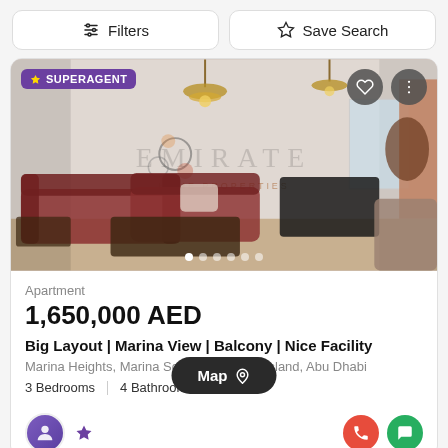Filters | Save Search
[Figure (photo): Interior living room photo of an apartment with dark leather sofas, chandeliers, wall decor, and a TV — watermarked with EMIRATE HOME PROPERTIES logo. SUPERAGENT badge top left, heart and menu icons top right.]
Apartment
1,650,000 AED
Big Layout | Marina View | Balcony | Nice Facility
Marina Heights, Marina Square, Al Reem Island, Abu Dhabi
3 Bedrooms  |  4 Bathrooms
Map